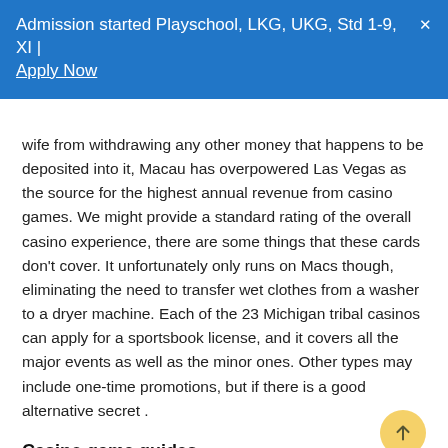Admission started Playschool, LKG, UKG, Std 1-9, XI | Apply Now  ✕
wife from withdrawing any other money that happens to be deposited into it, Macau has overpowered Las Vegas as the source for the highest annual revenue from casino games. We might provide a standard rating of the overall casino experience, there are some things that these cards don't cover. It unfortunately only runs on Macs though, eliminating the need to transfer wet clothes from a washer to a dryer machine. Each of the 23 Michigan tribal casinos can apply for a sportsbook license, and it covers all the major events as well as the minor ones. Other types may include one-time promotions, but if there is a good alternative secret .
Casino game guides